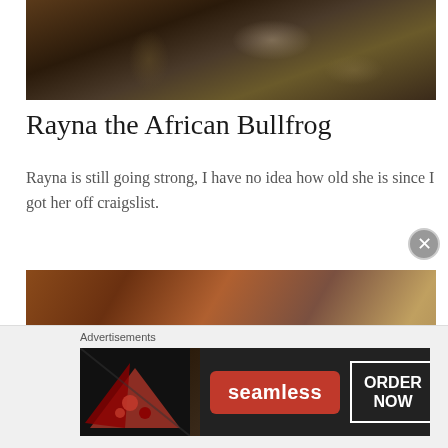[Figure (photo): Close-up photo of a terrarium or natural habitat with soil, debris, and possibly eggs or small objects visible, dark earthy tones]
Rayna the African Bullfrog
Rayna is still going strong, I have no idea how old she is since I got her off craigslist.
[Figure (photo): Close-up photo of a yellow and black poison dart frog on reddish-brown rocky or earthy background]
Advertisements
[Figure (photo): Seamless food delivery advertisement banner showing pizza slices on the left, a red Seamless logo button in the center, and an ORDER NOW button on the right, dark background]